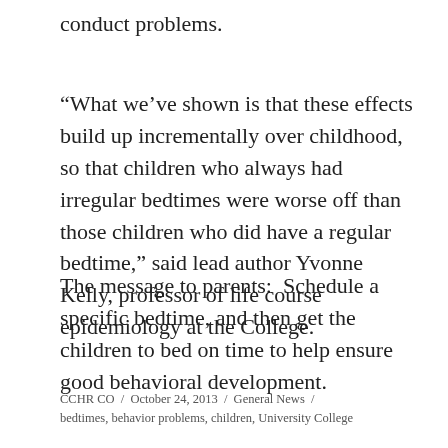conduct problems.
“What we’ve shown is that these effects build up incrementally over childhood, so that children who always had irregular bedtimes were worse off than those children who did have a regular bedtime,” said lead author Yvonne Kelly, professor of life course epidemiology at the College.
The message to parents:  Schedule a specific bedtime, and then get the children to bed on time to help ensure good behavioral development.
CCHR CO  /  October 24, 2013  /  General News  /
bedtimes, behavior problems, children, University College